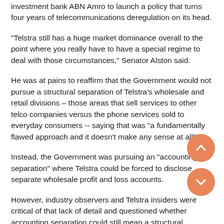investment bank ABN Amro to launch a policy that turns four years of telecommunications deregulation on its head.
"Telstra still has a huge market dominance overall to the point where you really have to have a special regime to deal with those circumstances," Senator Alston said.
He was at pains to reaffirm that the Government would not pursue a structural separation of Telstra's wholesale and retail divisions – those areas that sell services to other telco companies versus the phone services sold to everyday consumers -- saying that was "a fundamentally flawed approach and it doesn't make any sense at all".
Instead, the Government was pursuing an "accounting separation" where Telstra could be forced to disclose separate wholesale profit and loss accounts.
However, industry observers and Telstra insiders were critical of that lack of detail and questioned whether accounting separation could still mean a structural overhaul for Telstra in order to comply with the standards the Government might set.